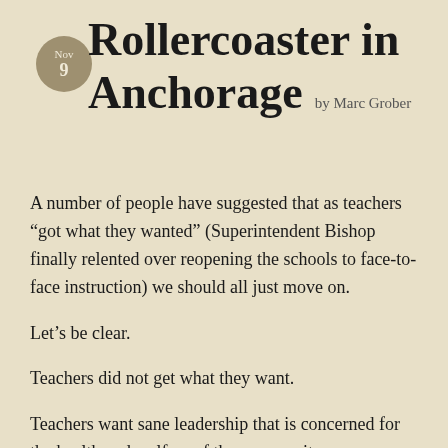Rollercoaster in Anchorage by Marc Grober
A number of people have suggested that as teachers “got what they wanted” (Superintendent Bishop finally relented over reopening the schools to face-to-face instruction) we should all just move on.
Let’s be clear.
Teachers did not get what they want.
Teachers want sane leadership that is concerned for the health and welfare of the community.
Teachers want evidence-based data-driven analysis not rhetoric and mendacity.